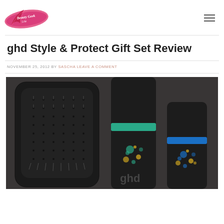Beauty Geek Like (logo)
ghd Style & Protect Gift Set Review
NOVEMBER 25, 2012 BY SASCHA LEAVE A COMMENT
[Figure (photo): Photo of ghd Style & Protect Gift Set showing a black paddle brush, a tall black spray bottle with teal and gold dot pattern and teal band, and a shorter black spray bottle with blue band and multicolored dot pattern, all in a dark foam-lined box.]